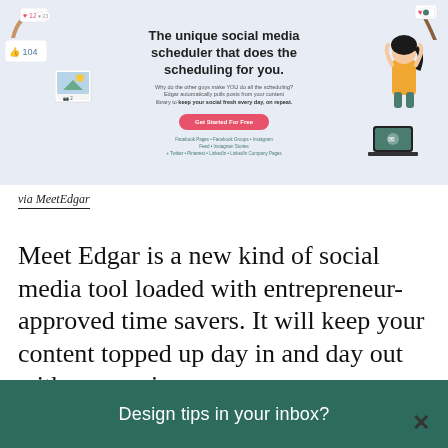[Figure (screenshot): MeetEdgar social media scheduler landing page banner with headline 'The unique social media scheduler that does the scheduling for you.' and a pink 'Get Started For Free' button, plus decorative illustrations of a woman, laptop, social media icons, and a photo card.]
via MeetEdgar
Meet Edgar is a new kind of social media tool loaded with entrepreneur-approved time savers. It will keep your content topped up day in and day out with your unique,
Design tips in your inbox?